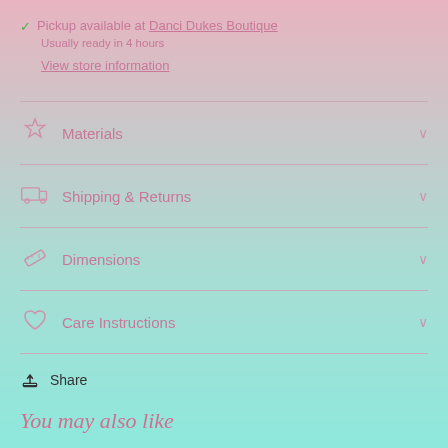✓ Pickup available at Danci Dukes Boutique
Usually ready in 4 hours
View store information
Materials
Shipping & Returns
Dimensions
Care Instructions
Share
You may also like